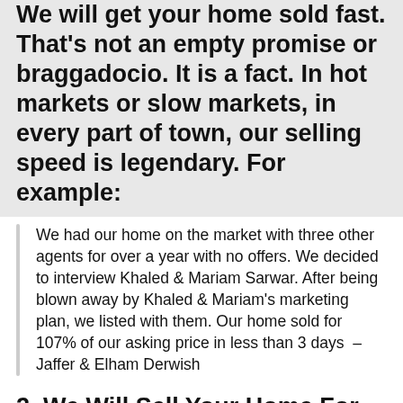We will get your home sold fast. That's not an empty promise or braggadocio. It is a fact. In hot markets or slow markets, in every part of town, our selling speed is legendary. For example:
We had our home on the market with three other agents for over a year with no offers. We decided to interview Khaled & Mariam Sarwar. After being blown away by Khaled & Mariam's marketing plan, we listed with them. Our home sold for 107% of our asking price in less than 3 days  – Jaffer & Elham Derwish
2. We Will Sell Your Home For TOP